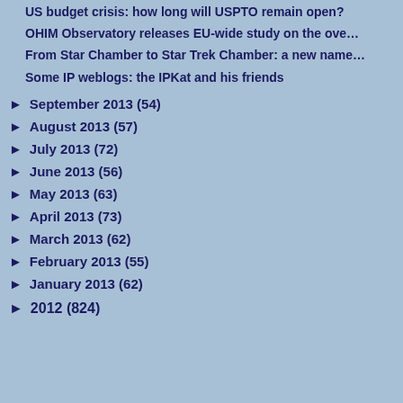US budget crisis: how long will USPTO remain open?
OHIM Observatory releases EU-wide study on the ove…
From Star Chamber to Star Trek Chamber: a new name…
Some IP weblogs: the IPKat and his friends
September 2013 (54)
August 2013 (57)
July 2013 (72)
June 2013 (56)
May 2013 (63)
April 2013 (73)
March 2013 (62)
February 2013 (55)
January 2013 (62)
2012 (824)